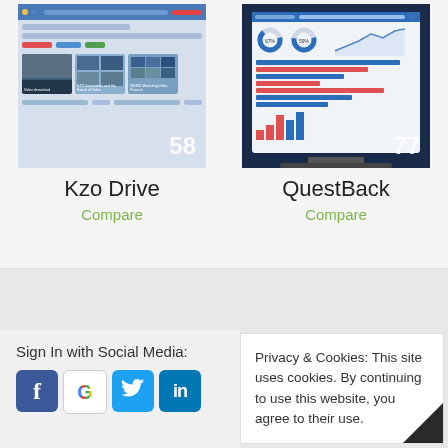[Figure (screenshot): Screenshot of Kzo Drive software interface showing video thumbnails with badge number 58]
Kzo Drive
Compare
[Figure (screenshot): Screenshot of QuestBack analytics dashboard on a laptop showing donut charts and bar charts with badge number 77]
QuestBack
Compare
Sign In with Social Media:
[Figure (infographic): Social media login icons: Facebook, Google, Twitter, LinkedIn]
Privacy & Cookies: This site uses cookies. By continuing to use this website, you agree to their use.

PAT RESEARCH, 265 Port Union Road, Toronto, M1C 4Z7,